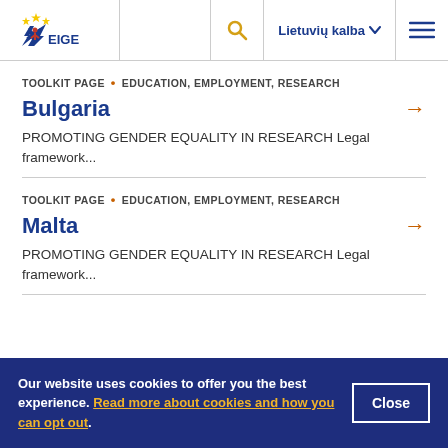[Figure (logo): EIGE European Institute for Gender Equality logo - blue star with yellow stars, text EIGE]
Lietuvių kalba [language selector] [search icon] [menu icon]
TOOLKIT PAGE • EDUCATION, EMPLOYMENT, RESEARCH
Bulgaria
PROMOTING GENDER EQUALITY IN RESEARCH Legal framework...
TOOLKIT PAGE • EDUCATION, EMPLOYMENT, RESEARCH
Malta
PROMOTING GENDER EQUALITY IN RESEARCH Legal framework...
Our website uses cookies to offer you the best experience. Read more about cookies and how you can opt out.